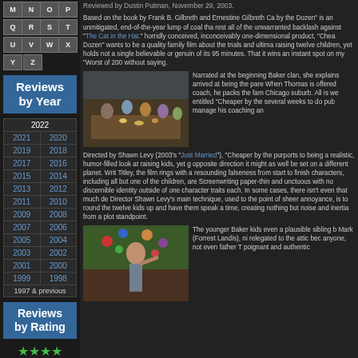M N O P
Q R S T
U V W X
Y Z
Reviews by Year
| 2022 |
| 2021 | 2020 |
| 2019 | 2018 |
| 2017 | 2016 |
| 2015 | 2014 |
| 2013 | 2012 |
| 2011 | 2010 |
| 2009 | 2008 |
| 2007 | 2006 |
| 2005 | 2004 |
| 2003 | 2002 |
| 2001 | 2000 |
| 1999 | 1998 |
| 1997 & previous |
Reviews by Rating
Reviewed by Dustin Putman, November 29, 2003.
Based on the book by Frank B. Gilbreth and Ernestine Gilbreth Ca by the Dozen" is an unmitigated, end-of-the-year lump of coal tha rest all of the unwarranted backlash against "The Cat in the Hat." horridly conceived, inconceivably one-dimensional product, "Chea Dozen" wants to be a quality family film about the trials and ultima raising twelve children, yet holds not a single believable or genuin of its 95 minutes. That it wins an instant spot on my "Worst of 200 without saying.
[Figure (photo): Scene from 'Cheaper by the Dozen' showing family at a table with children]
Narrated at the beginning Baker clan, she explains arrived at being the pare When Thomas is offered coach, he packs the fam Chicago suburb. All is we entitled "Cheaper by the several weeks to do pub manage his coaching an
Directed by Shawn Levy (2003's "Just Married"), "Cheaper by the purports to being a realistic, humor-filled look at raising kids, yet g opposite direction it might as well be set on a different planet. Writ Titley, the film rings with a resounding falseness from start to finish characters, including all but one of the children, are Screenwriting paper-thin and unctuous with no discernible identity outside of one character traits each. In some cases, there isn't even that much de Director Shawn Levy's main technique, used to the point of sheer annoyance, is to round the twelve kids up and have them speak a time, creating nothing but noise and inertia from a plot standpoint.
[Figure (photo): Scene showing a man juggling colorful balls outdoors]
The younger Baker kids even a plausible sibling b Mark (Forrest Landis), ni relegated to the attic bec anyone, not even father T poignant and authentic